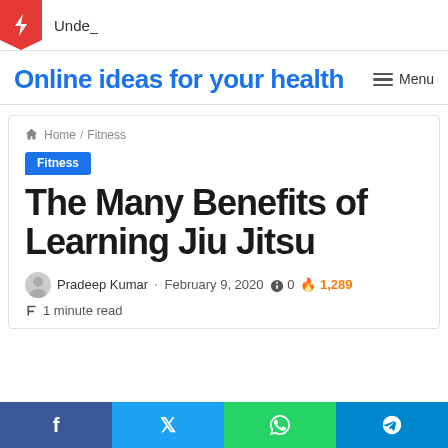Unde_
Online ideas for your health
Menu
Home / Fitness
Fitness
The Many Benefits of Learning Jiu Jitsu
Pradeep Kumar · February 9, 2020 0 1,289
1 minute read